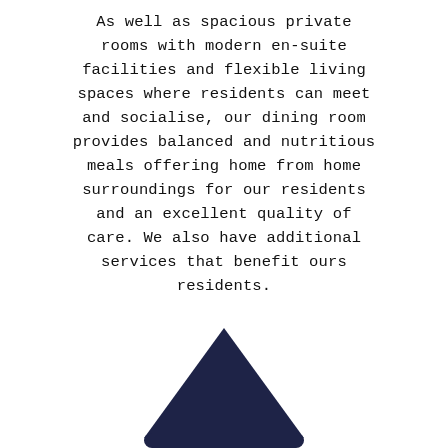As well as spacious private rooms with modern en-suite facilities and flexible living spaces where residents can meet and socialise, our dining room provides balanced and nutritious meals offering home from home surroundings for our residents and an excellent quality of care. We also have additional services that benefit ours residents.
[Figure (logo): Dark navy blue triangular/shield-shaped logo pointing upward, partially visible at the bottom center of the page]